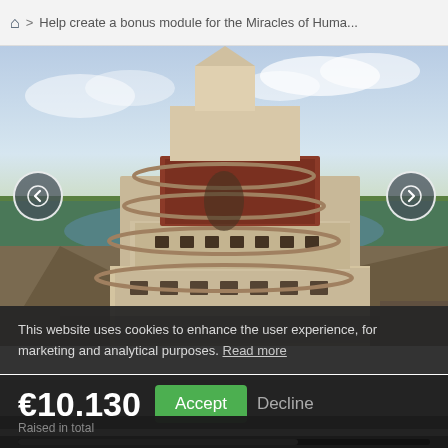🏠 > Help create a bonus module for the Miracles of Huma...
[Figure (photo): Painting of the Tower of Babel (Pieter Bruegel the Elder style) — a large spiraling tower under construction set against a green and cloudy sky landscape, with navigation arrows on left and right]
This website uses cookies to enhance the user experience, for marketing and analytical purposes. Read more
€10.130
Raised in total